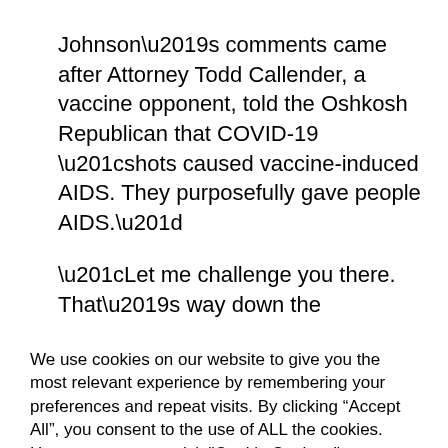Johnson’s comments came after Attorney Todd Callender, a vaccine opponent, told the Oshkosh Republican that COVID-19 “shots caused vaccine-induced AIDS. They purposefully gave people AIDS.”
“Let me challenge you there. That’s way down the road,” Johnson replied. “I mean, you gotta do one step at a time. Everything
We use cookies on our website to give you the most relevant experience by remembering your preferences and repeat visits. By clicking “Accept All”, you consent to the use of ALL the cookies. However, you may visit "Cookie Settings" to provide a controlled consent.